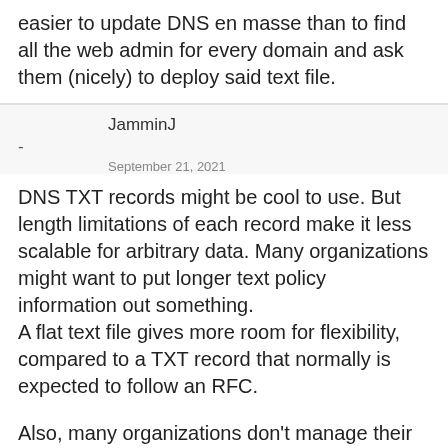easier to update DNS en masse than to find all the web admin for every domain and ask them (nicely) to deploy said text file.
JamminJ
-
September 21, 2021
DNS TXT records might be cool to use. But length limitations of each record make it less scalable for arbitrary data. Many organizations might want to put longer text policy information out something.
A flat text file gives more room for flexibility, compared to a TXT record that normally is expected to follow an RFC.
Also, many organizations don't manage their DNS in house. While their website content is much easier to manage.
Az